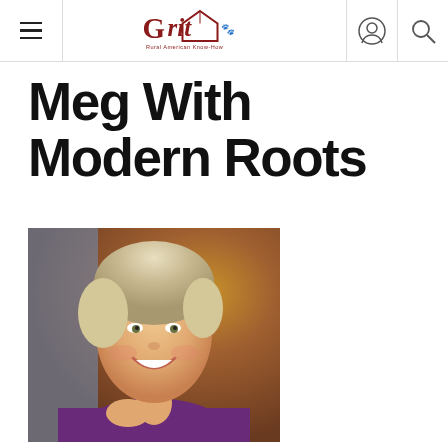Grit — Rural American Know-How
Meg With Modern Roots
[Figure (photo): Portrait photo of a smiling blonde woman wearing a purple top, with a blurred brick background]